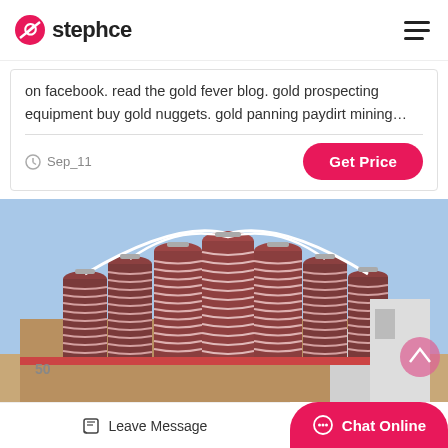stephce
on facebook. read the gold fever blog. gold prospecting equipment buy gold nuggets. gold panning paydirt mining…
Sep_11
Get Price
[Figure (photo): Industrial mining equipment showing multiple large spiral separator columns arranged in rows against a blue sky background, with metal framework and industrial building visible.]
Leave Message
Chat Online